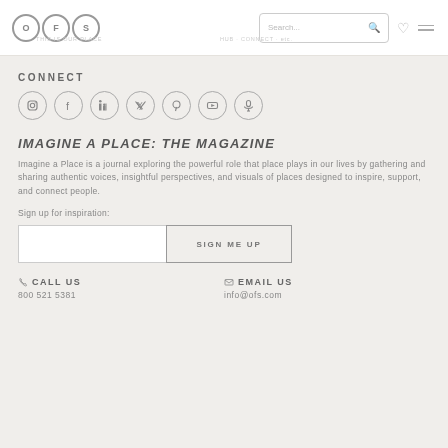OFS logo, Search bar, heart icon, menu icon
CONNECT
[Figure (other): Social media icons: Instagram, Facebook, LinkedIn, Twitter, Pinterest, YouTube, Podcast]
IMAGINE A PLACE: THE MAGAZINE
Imagine a Place is a journal exploring the powerful role that place plays in our lives by gathering and sharing authentic voices, insightful perspectives, and visuals of places designed to inspire, support, and connect people.
Sign up for inspiration:
SIGN ME UP
CALL US
800 521 5381
EMAIL US
info@ofs.com